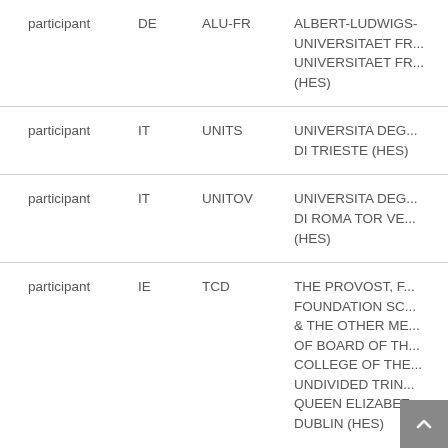| Role | Country | Short Name | Full Name |
| --- | --- | --- | --- |
| participant | DE | ALU-FR | ALBERT-LUDWIGS-UNIVERSITAET FR... (HES) |
| participant | IT | UNITS | UNIVERSITA DEGLI... DI TRIESTE (HES) |
| participant | IT | UNITOV | UNIVERSITA DEGLI... DI ROMA TOR VE... (HES) |
| participant | IE | TCD | THE PROVOST, F... FOUNDATION SC... & THE OTHER ME... OF BOARD OF TH... COLLEGE OF THE... UNDIVIDED TRIN... QUEEN ELIZABET... DUBLIN (HES) |
| participant | UK | QMUL | QUEEN MARY UN... OF LONDON (HES) |